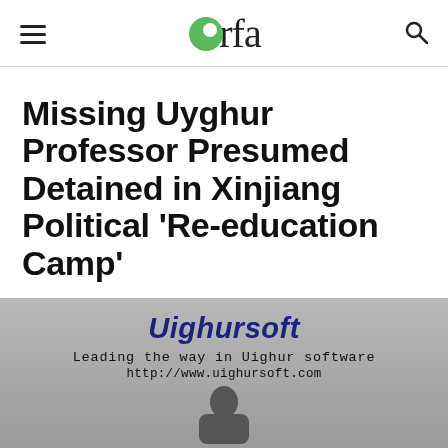rfa (Radio Free Asia logo)
Missing Uyghur Professor Presumed Detained in Xinjiang Political ‘Re-education Camp’
2019.05.09
[Figure (photo): Photo showing a man in front of a Uighursoft banner reading 'Leading the way in Uighur software' and 'http://www.uighursoft.com']